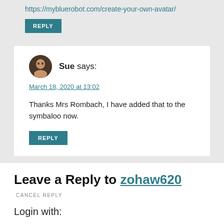https://mybluerobot.com/create-your-own-avatar/
REPLY
Sue says:
March 18, 2020 at 13:02
Thanks Mrs Rombach, I have added that to the symbaloo now.
REPLY
Leave a Reply to zohaw620
CANCEL REPLY
Login with: